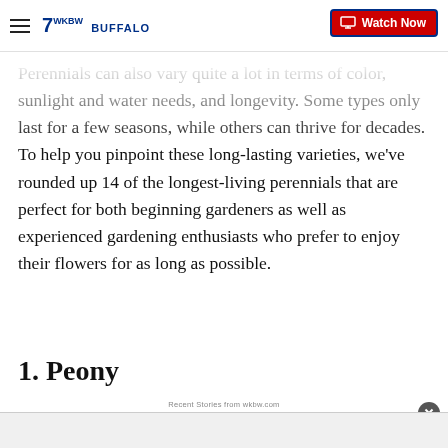7 WKBW BUFFALO | Watch Now
Perennials can also vary quite a lot in terms of color, sunlight and water needs, and longevity. Some types only last for a few seasons, while others can thrive for decades. To help you pinpoint these long-lasting varieties, we've rounded up 14 of the longest-living perennials that are perfect for both beginning gardeners as well as experienced gardening enthusiasts who prefer to enjoy their flowers for as long as possible.
1. Peony
Recent Stories from wkbw.com